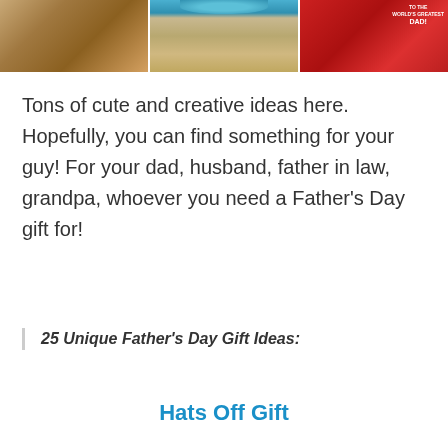[Figure (photo): Three photos side by side: a baseball glove on wood, a jar of peanuts with blue lid, and a red baseball cap with 'To the World's Greatest Dad' label]
Tons of cute and creative ideas here. Hopefully, you can find something for your guy! For your dad, husband, father in law, grandpa, whoever you need a Father's Day gift for!
25 Unique Father's Day Gift Ideas:
Hats Off Gift